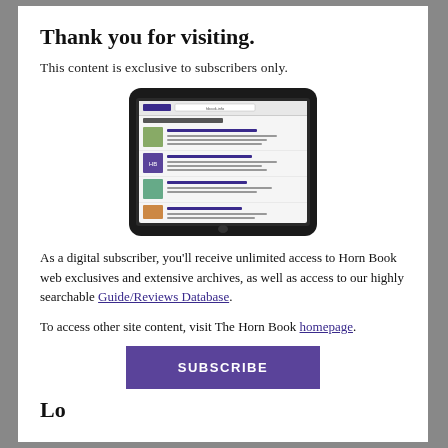Thank you for visiting.
This content is exclusive to subscribers only.
[Figure (screenshot): A tablet device displaying the Horn Book website with book reviews and listings.]
As a digital subscriber, you'll receive unlimited access to Horn Book web exclusives and extensive archives, as well as access to our highly searchable Guide/Reviews Database.
To access other site content, visit The Horn Book homepage.
SUBSCRIBE
Lo...